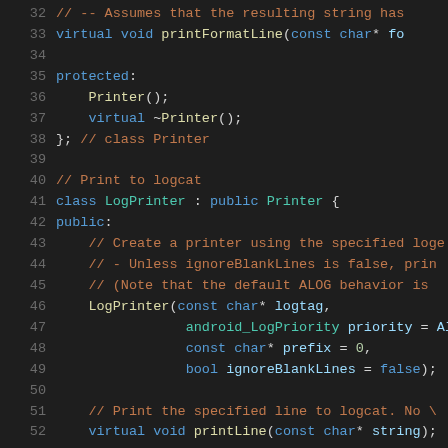[Figure (screenshot): C++ source code listing showing lines 32–52 of a header file defining Printer and LogPrinter classes, displayed in a dark-themed code editor with syntax highlighting.]